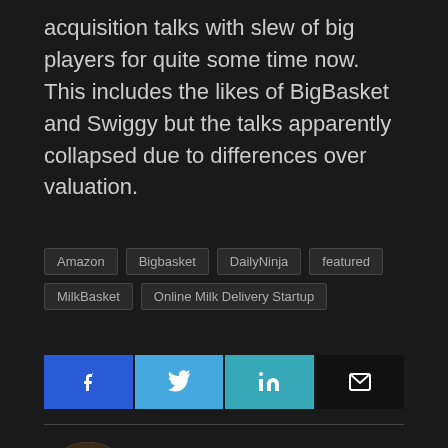acquisition talks with slew of big players for quite some time now. This includes the likes of BigBasket and Swiggy but the talks apparently collapsed due to differences over valuation.
Amazon
Bigbasket
DailyNinja
featured
MilkBasket
Online Milk Delivery Startup
[Figure (infographic): Social share buttons: Facebook (blue), Twitter (light blue), LinkedIn (teal), Email (black)]
Girish Shetti